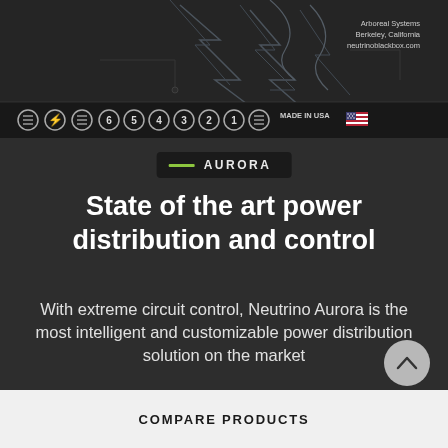[Figure (photo): Dark hardware device with lightning bolt circuit board graphics and port connectors. Shows Arboreal Systems Berkeley California neutrinoblackbox.com branding with numbered port icons (6,5,4,3,2,1) and MADE IN USA flag badge.]
AURORA
State of the art power distribution and control
With extreme circuit control, Neutrino Aurora is the most intelligent and customizable power distribution solution on the market
COMPARE PRODUCTS